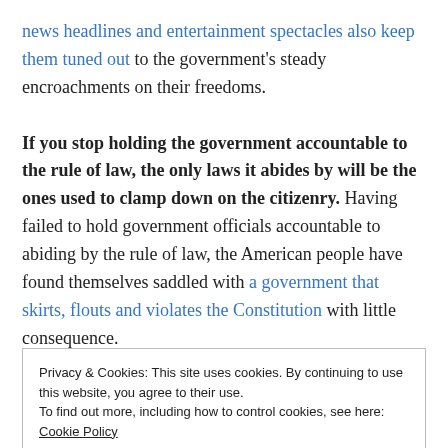news headlines and entertainment spectacles also keep them tuned out to the government's steady encroachments on their freedoms.

If you stop holding the government accountable to the rule of law, the only laws it abides by will be the ones used to clamp down on the citizenry. Having failed to hold government officials accountable to abiding by the rule of law, the American people have found themselves saddled with a government that skirts, flouts and violates the Constitution with little consequence.
Privacy & Cookies: This site uses cookies. By continuing to use this website, you agree to their use.
To find out more, including how to control cookies, see here: Cookie Policy
Close and accept